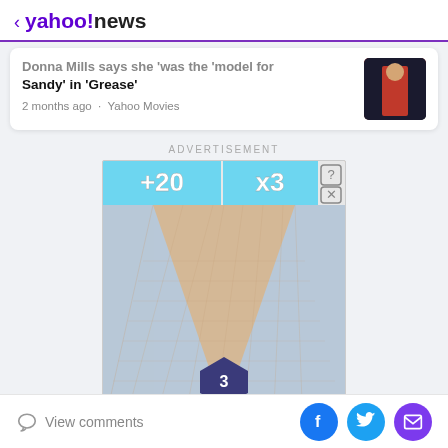< yahoo!news
Donna Mills says she 'was the model for Sandy' in 'Grease'
2 months ago · Yahoo Movies
[Figure (screenshot): Advertisement banner showing a mobile game screenshot with a bowling alley lane, +20 and x3 score multipliers, and cartoon characters at the bottom]
View comments